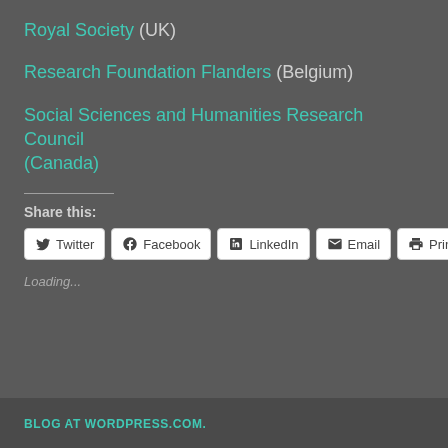Royal Society (UK)
Research Foundation Flanders (Belgium)
Social Sciences and Humanities Research Council (Canada)
Share this:
Twitter Facebook LinkedIn Email Print
Loading...
BLOG AT WORDPRESS.COM.